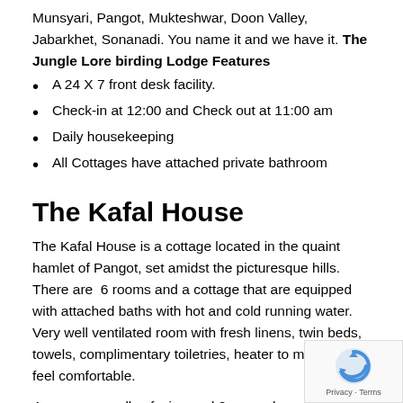Munsyari, Pangot, Mukteshwar, Doon Valley, Jabarkhet, Sonanadi. You name it and we have it. The Jungle Lore birding Lodge Features
A 24 X 7 front desk facility.
Check-in at 12:00 and Check out at 11:00 am
Daily housekeeping
All Cottages have attached private bathroom
The Kafal House
The Kafal House is a cottage located in the quaint hamlet of Pangot, set amidst the picturesque hills. There are  6 rooms and a cottage that are equipped with attached baths with hot and cold running water. Very well ventilated room with fresh linens, twin beds, towels, complimentary toiletries, heater to make you feel comfortable.
4 rooms are valley facing and 2 rooms have a garden view, all with